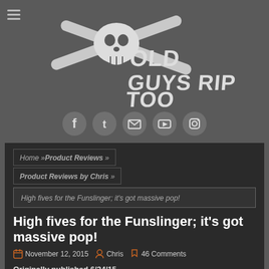[Figure (logo): Old Guys Rip Too website logo with skull and crossed skis/snowboards graphic, white on dark background]
[Figure (infographic): Row of 5 social media icon circles (Facebook, Twitter, Email, YouTube, Instagram) in gray circles]
Home » Product Reviews » Product Reviews by Chris »
High fives for the Funslinger; it's got massive pop!
November 12, 2015  Chris  46 Comments
Originally published 6/24/15
Never Summer Funslinger 2015-2016